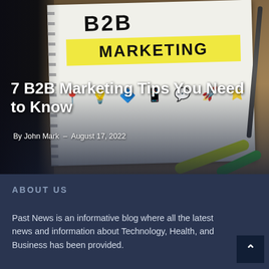[Figure (photo): Photo of a notebook with 'B2B MARKETING' written on it in large bold letters with yellow highlighter background on MARKETING, surrounded by marketing icons (location pins, lightbulbs, rocket, etc.), along with pens and highlighters on a wooden desk. The title '7 B2B Marketing Tips You Need to Know' and byline 'By John Mark - August 17, 2022' are overlaid on the image.]
7 B2B Marketing Tips You Need to Know
By John Mark  -  August 17, 2022
ABOUT US
Past News is an informative blog where all the latest news and information about Technology, Health, and Business has been provided.